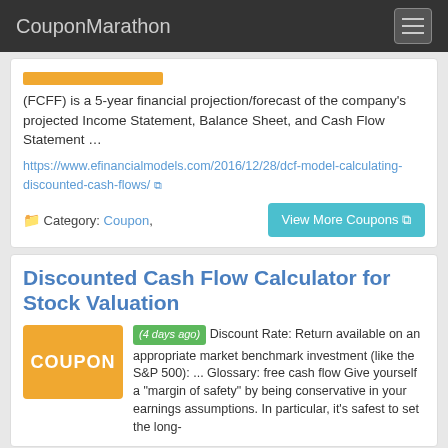CouponMarathon
(FCFF) is a 5-year financial projection/forecast of the company's projected Income Statement, Balance Sheet, and Cash Flow Statement …
https://www.efinancialmodels.com/2016/12/28/dcf-model-calculating-discounted-cash-flows/
Category: Coupon,
View More Coupons
Discounted Cash Flow Calculator for Stock Valuation
(4 days ago) Discount Rate: Return available on an appropriate market benchmark investment (like the S&P 500): ... Glossary: free cash flow Give yourself a "margin of safety" by being conservative in your earnings assumptions. In particular, it's safest to set the long-